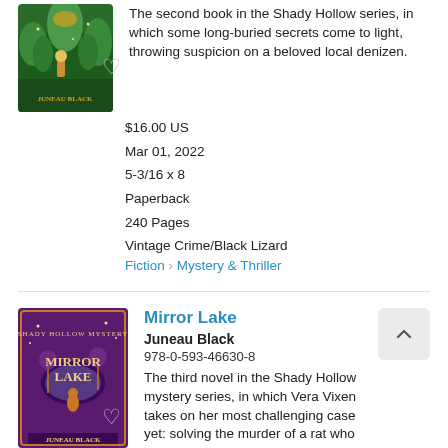[Figure (illustration): Book cover for a Shady Hollow series book by Juneau Black, green illustrated cover with forest scene, partially cropped at top]
The second book in the Shady Hollow series, in which some long-buried secrets come to light, throwing suspicion on a beloved local denizen.
$16.00 US
Mar 01, 2022
5-3/16 x 8
Paperback
240 Pages
Vintage Crime/Black Lizard
Fiction > Mystery & Thriller
Mirror Lake
Juneau Black
978-0-593-46630-8
The third novel in the Shady Hollow mystery series, in which Vera Vixen takes on her most challenging case yet: solving the murder of a rat who appears to still be alive.
$16.00 US